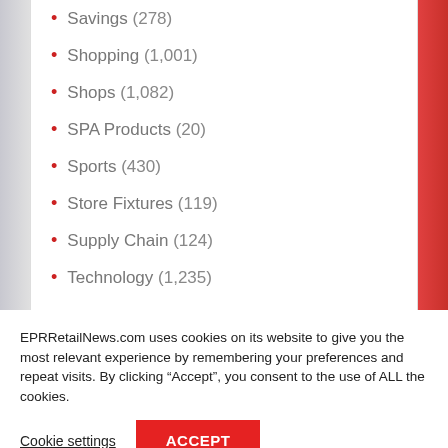Savings (278)
Shopping (1,001)
Shops (1,082)
SPA Products (20)
Sports (430)
Store Fixtures (119)
Supply Chain (124)
Technology (1,235)
EPRRetailNews.com uses cookies on its website to give you the most relevant experience by remembering your preferences and repeat visits. By clicking “Accept”, you consent to the use of ALL the cookies.
Cookie settings  ACCEPT